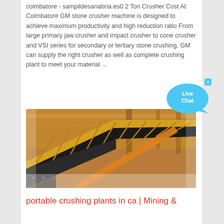coimbatore - sampildesanabria.es0 2 Ton Crusher Cost At Coimbatore GM stone crusher machine is designed to achieve maximum productivity and high reduction ratio From large primary jaw crusher and impact crusher to cone crusher and VSI series for secondary or tertiary stone crushing, GM can supply the right crusher as well as complete crushing plant to meet your material ...
[Figure (photo): Industrial stone crusher conveyor belt machinery inside a factory/plant, featuring yellow and black metal components]
portable crushing plants in ca | Mining &